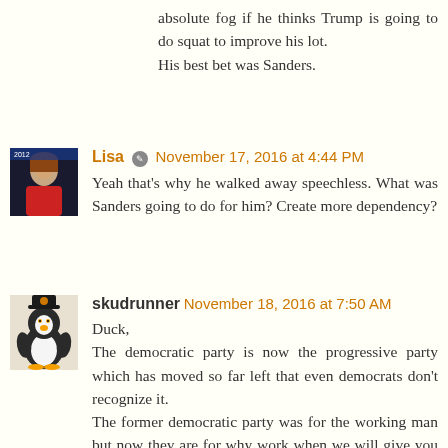absolute fog if he thinks Trump is going to do squat to improve his lot.
His best bet was Sanders.
Lisa · November 17, 2016 at 4:44 PM
Yeah that's why he walked away speechless. What was Sanders going to do for him? Create more dependency?
skudrunner November 18, 2016 at 7:50 AM
Duck,
The democratic party is now the progressive party which has moved so far left that even democrats don't recognize it.
The former democratic party was for the working man but now they are for why work when we will give you everything and bill the middle class.
The poor are taken care of and the rich take care of themselves which leads to the middle class